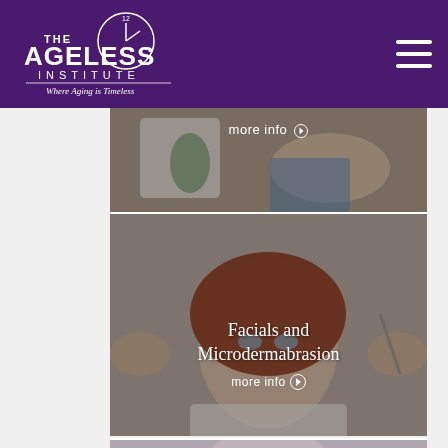[Figure (logo): The Ageless Institute logo with clock/compass symbol and tagline 'Where Aging is Timeless' on purple background]
[Figure (photo): Medical professional treating a patient's neck/face area - partially visible card with 'more info' button]
[Figure (photo): Woman with red hair receiving facial treatment - card labeled 'Facials and Microdermabrasion' with 'more info' button]
[Figure (photo): Partial view of another treatment card at bottom of page]